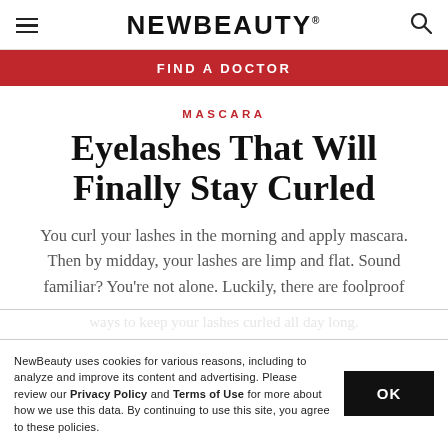NEWBEAUTY
FIND A DOCTOR
MASCARA
Eyelashes That Will Finally Stay Curled
You curl your lashes in the morning and apply mascara. Then by midday, your lashes are limp and flat. Sound familiar? You're not alone. Luckily, there are foolproof
NewBeauty uses cookies for various reasons, including to analyze and improve its content and advertising. Please review our Privacy Policy and Terms of Use for more about how we use this data. By continuing to use this site, you agree to these policies.